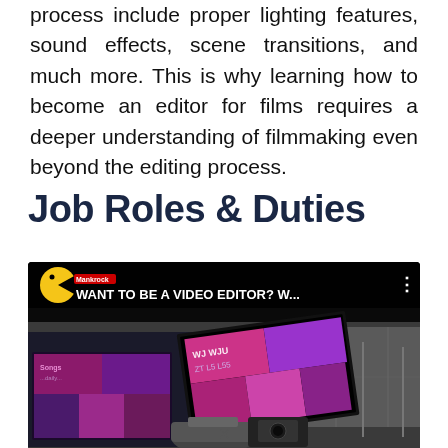process include proper lighting features, sound effects, scene transitions, and much more. This is why learning how to become an editor for films requires a deeper understanding of filmmaking even beyond the editing process.
Job Roles & Duties
[Figure (screenshot): YouTube video thumbnail showing a video editing workstation with multiple monitors displaying colorful footage. The video title reads 'WANT TO BE A VIDEO EDITOR? W...' with a Pac-Man style channel icon on the left.]